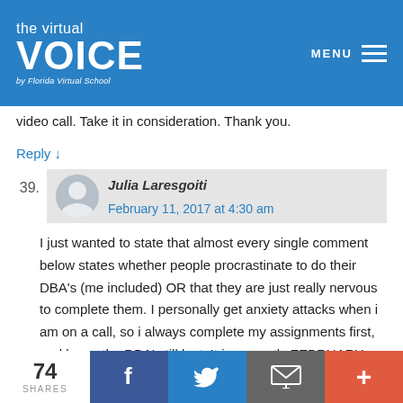[Figure (logo): The Virtual Voice by Florida Virtual School logo on blue background with MENU hamburger icon]
video call. Take it in consideration. Thank you.
Reply ↓
39.  Julia Laresgoiti  February 11, 2017 at 4:30 am
I just wanted to state that almost every single comment below states whether people procrastinate to do their DBA's (me included) OR that they are just really nervous to complete them. I personally get anxiety attacks when i am on a call, so i always complete my assignments first, and leave the DBA's till last. It is currently FEBRUARY and i have DBA's that
74 SHARES  [Facebook] [Twitter] [Email] [+]